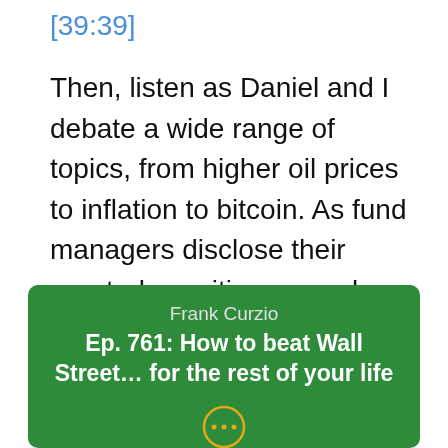[39:39]
Then, listen as Daniel and I debate a wide range of topics, from higher oil prices to inflation to bitcoin. As fund managers disclose their quarterly positions, we also share some big moves that have snagged our attention... [01:18:09]
[Figure (screenshot): Green podcast card showing Frank Curzio, Ep. 761: How to beat Wall Street... for the rest of your life, with ellipsis icon and partial avatar at bottom]